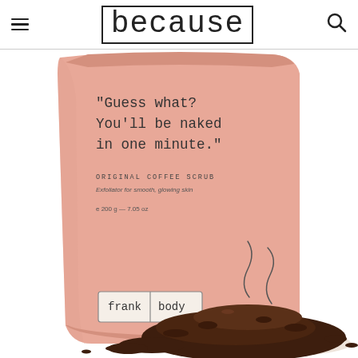because
[Figure (photo): Frank Body Original Coffee Scrub product package — a salmon/blush-pink matte pouch with typewriter-style text reading: "Guess what? You'll be naked in one minute." ORIGINAL COFFEE SCRUB. Exfoliator for smooth, glowing skin. e 200g — 7.05 oz. Frank body logo at bottom left. A pile of dark coffee grounds spilled in front of the bag on a white background.]